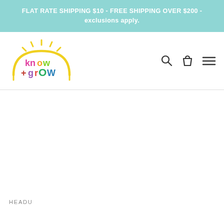FLAT RATE SHIPPING $10 - FREE SHIPPING OVER $200 - exclusions apply.
[Figure (logo): Know+Grow logo: colorful text 'know+grow' inside a yellow sun/rainbow arc illustration]
HEADU